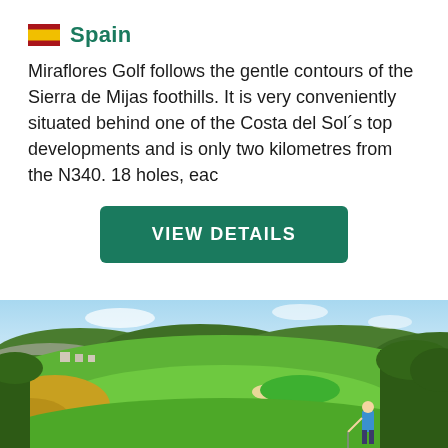🇪🇸 Spain
Miraflores Golf follows the gentle contours of the Sierra de Mijas foothills. It is very conveniently situated behind one of the Costa del Sol´s top developments and is only two kilometres from the N340. 18 holes, eac
VIEW DETAILS
[Figure (photo): Aerial view of a lush green golf course with rolling hills, trees, yellow flowering bushes, sand bunkers, and a golfer in a blue shirt putting on the foreground tee area. Blue sky with light clouds in background.]